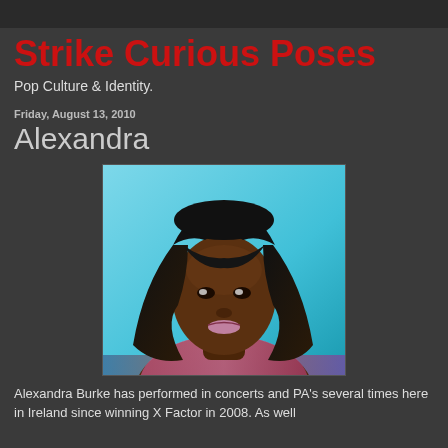Strike Curious Poses
Pop Culture & Identity.
Friday, August 13, 2010
Alexandra
[Figure (photo): Portrait photo of Alexandra Burke, a young Black woman with long black hair and bangs, wearing a pink top, against a blue background.]
Alexandra Burke has performed in concerts and PA's several times here in Ireland since winning X Factor in 2008. As well